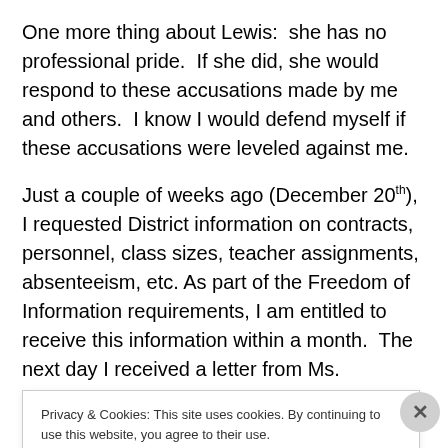One more thing about Lewis:  she has no professional pride.  If she did, she would respond to these accusations made by me and others.  I know I would defend myself if these accusations were leveled against me.
Just a couple of weeks ago (December 20th),  I requested District information on contracts, personnel, class sizes, teacher assignments, absenteeism, etc. As part of the Freedom of Information requirements, I am entitled to receive this information within a month.  The next day I received a letter from Ms. Fitzpatrick, Assistant
Privacy & Cookies: This site uses cookies. By continuing to use this website, you agree to their use.
To find out more, including how to control cookies, see here: Cookie Policy